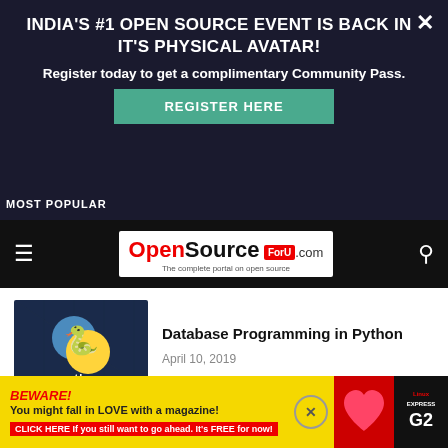[Figure (screenshot): Advertisement overlay banner: dark navy background with text 'INDIA'S #1 OPEN SOURCE EVENT IS BACK IN IT'S PHYSICAL AVATAR!' and 'Register today to get a complimentary Community Pass.' with a teal REGISTER HERE button]
[Figure (logo): OpenSource ForU.com logo on white background with red Open, black Source, red ForU badge and tagline 'The complete portal on open source']
Database Programming in Python
April 10, 2019
A Guide to Using Raw Sockets
March 21, 2015
[Figure (infographic): Bottom ad banner on yellow background: BEWARE! You might fall in LOVE with a magazine! CLICK HERE If you still want to go ahead. It's FREE for now! with red heart and Linux Express magazine cover]